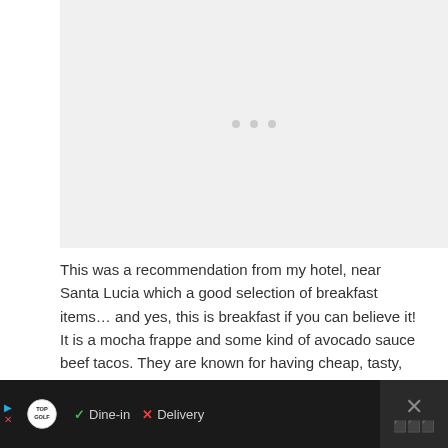[Figure (photo): Loading placeholder with three grey dots on a light grey background]
This was a recommendation from my hotel, near Santa Lucia which a good selection of breakfast items… and yes, this is breakfast if you can believe it! It is a mocha frappe and some kind of avocado sauce beef tacos. They are known for having cheap, tasty, diner like food. I went back for lunch another day and thought it wasn't very good, though.
[Figure (screenshot): Ad banner at bottom: Topgolf advertisement with Dine-in and Delivery options, navigation diamond icon, and close button]